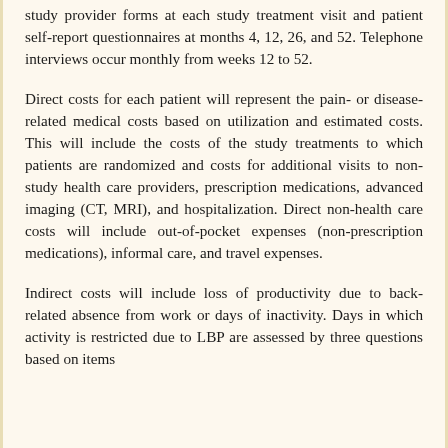study provider forms at each study treatment visit and patient self-report questionnaires at months 4, 12, 26, and 52. Telephone interviews occur monthly from weeks 12 to 52.
Direct costs for each patient will represent the pain- or disease-related medical costs based on utilization and estimated costs. This will include the costs of the study treatments to which patients are randomized and costs for additional visits to non-study health care providers, prescription medications, advanced imaging (CT, MRI), and hospitalization. Direct non-health care costs will include out-of-pocket expenses (non-prescription medications), informal care, and travel expenses.
Indirect costs will include loss of productivity due to back-related absence from work or days of inactivity. Days in which activity is restricted due to LBP are assessed by three questions based on items